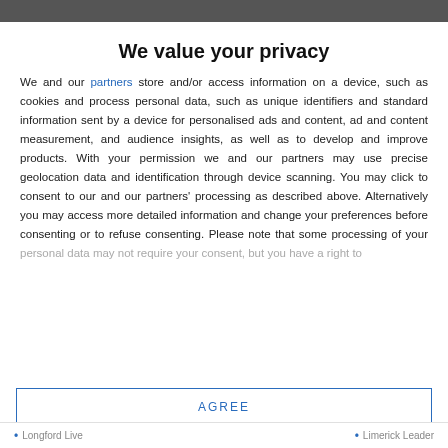We value your privacy
We and our partners store and/or access information on a device, such as cookies and process personal data, such as unique identifiers and standard information sent by a device for personalised ads and content, ad and content measurement, and audience insights, as well as to develop and improve products. With your permission we and our partners may use precise geolocation data and identification through device scanning. You may click to consent to our and our partners' processing as described above. Alternatively you may access more detailed information and change your preferences before consenting or to refuse consenting. Please note that some processing of your personal data may not require your consent, but you have a right to
AGREE
MORE OPTIONS
Longford Live   Limerick Leader